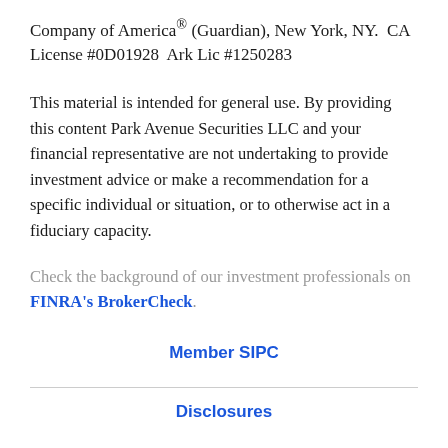Company of America® (Guardian), New York, NY. CA License #0D01928 Ark Lic #1250283
This material is intended for general use. By providing this content Park Avenue Securities LLC and your financial representative are not undertaking to provide investment advice or make a recommendation for a specific individual or situation, or to otherwise act in a fiduciary capacity.
Check the background of our investment professionals on FINRA's BrokerCheck.
Member SIPC
Disclosures